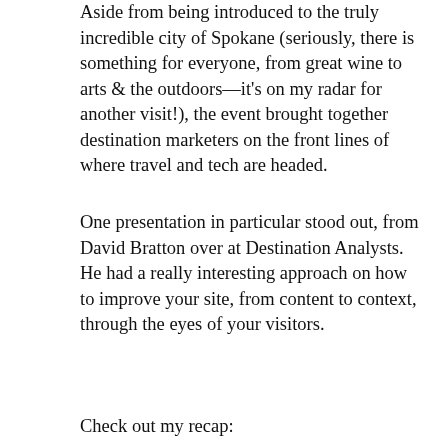Aside from being introduced to the truly incredible city of Spokane (seriously, there is something for everyone, from great wine to arts & the outdoors—it's on my radar for another visit!), the event brought together destination marketers on the front lines of where travel and tech are headed.
One presentation in particular stood out, from David Bratton over at Destination Analysts. He had a really interesting approach on how to improve your site, from content to context, through the eyes of your visitors.
Check out my recap:
[Figure (photo): Interior photo of an ornate historic building/hall with warm lighting, columns, and a blue projection screen visible in the center.]